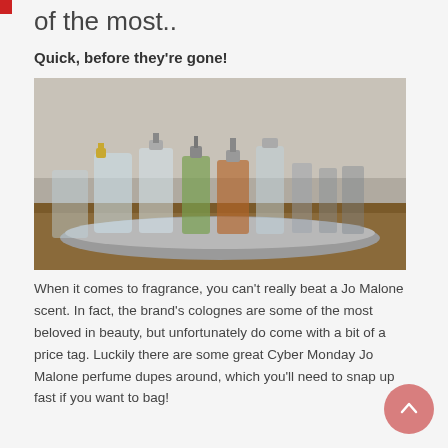of the most..
Quick, before they're gone!
[Figure (photo): Several perfume bottles of various shapes and sizes arranged on a silver tray on a wooden surface, including clear glass bottles with gold and silver caps]
When it comes to fragrance, you can't really beat a Jo Malone scent. In fact, the brand's colognes are some of the most beloved in beauty, but unfortunately do come with a bit of a price tag. Luckily there are some great Cyber Monday Jo Malone perfume dupes around, which you'll need to snap up fast if you want to bag!